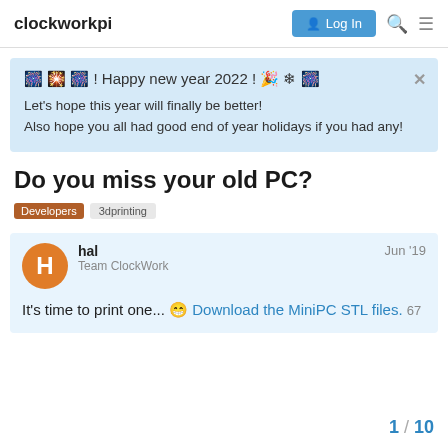clockworkpi  Log In
🎆 🎇 🎆 ! Happy new year 2022 ! 🎉 ❄ 🎆
Let's hope this year will finally be better!
Also hope you all had good end of year holidays if you had any!
Do you miss your old PC?
Developers  3dprinting
hal  Jun '19
Team ClockWork
It's time to print one... 😁 Download the MiniPC STL files. 67
1 / 10